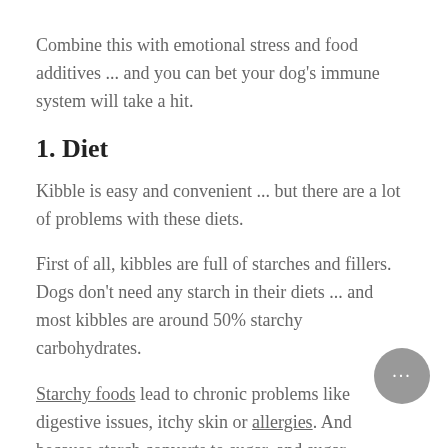Combine this with emotional stress and food additives ... and you can bet your dog's immune system will take a hit.
1. Diet
Kibble is easy and convenient ... but there are a lot of problems with these diets.
First of all, kibbles are full of starches and fillers. Dogs don't need any starch in their diets ... and most kibbles are around 50% starchy carbohydrates.
Starchy foods lead to chronic problems like digestive issues, itchy skin or allergies. And because starch converts to sugar, and sugar